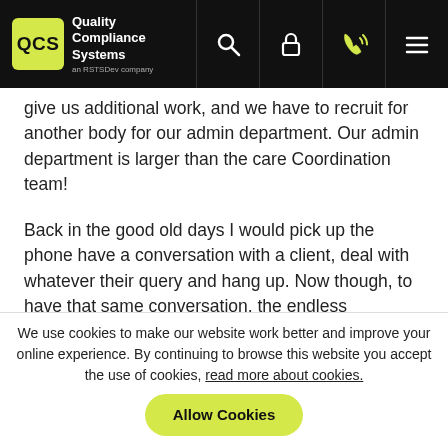Quality Compliance Systems - navigation bar
give us additional work, and we have to recruit for another body for our admin department. Our admin department is larger than the care Coordination team!
Back in the good old days I would pick up the phone have a conversation with a client, deal with whatever their query and hang up. Now though, to have that same conversation, the endless recording is incredibly time consuming. I understand there is a requirement to document information. But everything? Really? Is that even sustainable?
Good clear records
We use cookies to make our website work better and improve your online experience. By continuing to browse this website you accept the use of cookies, read more about cookies.